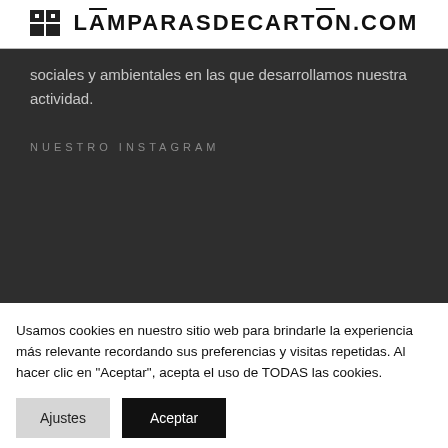LĀMPARASDECARTŌN.COM
sociales y ambientales en las que desarrollamos nuestra actividad.
NUESTRO INSTAGRAM
Usamos cookies en nuestro sitio web para brindarle la experiencia más relevante recordando sus preferencias y visitas repetidas. Al hacer clic en "Aceptar", acepta el uso de TODAS las cookies.
Ajustes | Aceptar